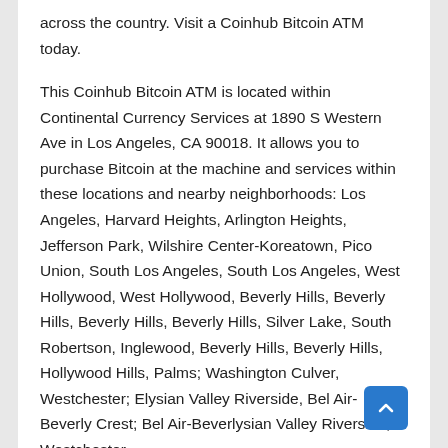across the country. Visit a Coinhub Bitcoin ATM today.
This Coinhub Bitcoin ATM is located within Continental Currency Services at 1890 S Western Ave in Los Angeles, CA 90018. It allows you to purchase Bitcoin at the machine and services within these locations and nearby neighborhoods: Los Angeles, Harvard Heights, Arlington Heights, Jefferson Park, Wilshire Center-Koreatown, Pico Union, South Los Angeles, South Los Angeles, West Hollywood, West Hollywood, Beverly Hills, Beverly Hills, Beverly Hills, Beverly Hills, Silver Lake, South Robertson, Inglewood, Beverly Hills, Beverly Hills, Hollywood Hills, Palms; Washington Culver, Westchester; Elysian Valley Riverside, Bel Air-Beverly Crest; Bel Air-Beverlysian Valley Riverside; Westchester